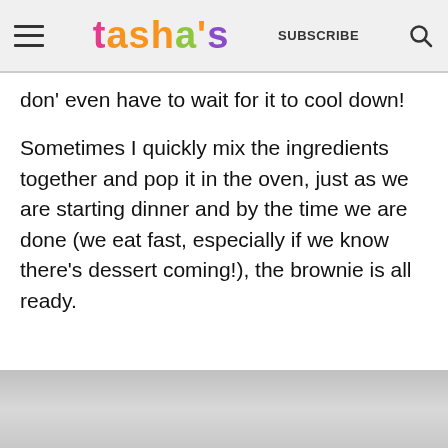tasha's — SUBSCRIBE
don' even have to wait for it to cool down!
Sometimes I quickly mix the ingredients together and pop it in the oven, just as we are starting dinner and by the time we are done (we eat fast, especially if we know there's dessert coming!), the brownie is all ready.
[Figure (photo): Bottom portion of a photo showing a baked brownie or similar dessert item, partially visible at the bottom of the page]